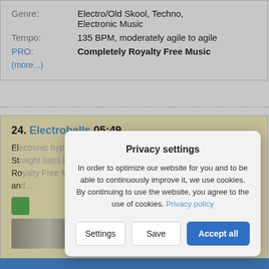| Genre: | Electro/Old Skool, Techno, Electronic Music |
| Tempo: | 135 BPM, moderately agile to agile |
| PRO: | Completely Royalty Free Music |
| (more...) |  |
24. Electrobells 05:49
Electronic hypnotic track. Exciting, groovy, hopeful. Straight bass kick. Resonant synths. Royalty Free Music Completely Royalty Free Music and ...
Privacy settings
In order to optimize our website for you and to be able to continuously improve it, we use cookies. By continuing to use the website, you agree to the use of cookies. Privacy policy
Settings
Save
Accept all